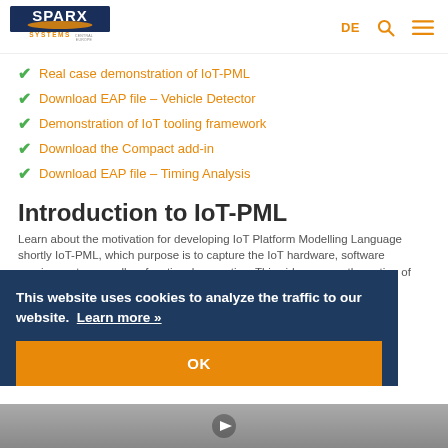[Figure (logo): Sparx Systems Central Europe logo — navy blue SPARX text with orange swoosh, SYSTEMS in orange below]
DE  🔍  ☰
Real case demonstration of IoT-PML
Download EAP file – Vehicle Detector
Demonstration of IoT tooling framework
Download the Compact add-in
Download EAP file – Timing Analysis
Introduction to IoT-PML
Learn about the motivation for developing IoT Platform Modelling Language shortly IoT-PML, which purpose is to capture the IoT hardware, software requirements, as well as functional properties. This video covers the notion of possible use and benefits coming from the IoT-PML.
This website uses cookies to analyze the traffic to our website. Learn more »
OK
[Figure (photo): Video thumbnail strip at bottom of page, partially visible]